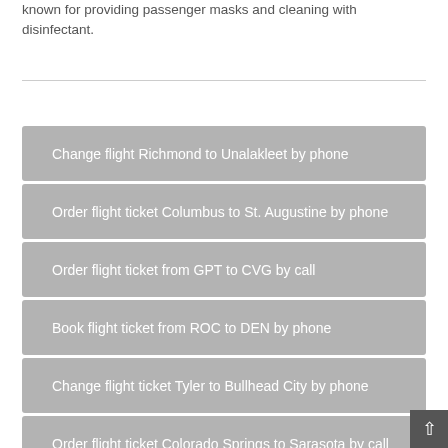known for providing passenger masks and cleaning with disinfectant.
Change flight Richmond to Unalakleet by phone
Order flight ticket Columbus to St. Augustine by phone
Order flight ticket from GPT to CVG by call
Book flight ticket from ROC to DEN by phone
Change flight ticket Tyler to Bullhead City by phone
Order flight ticket Colorado Springs to Sarasota by call